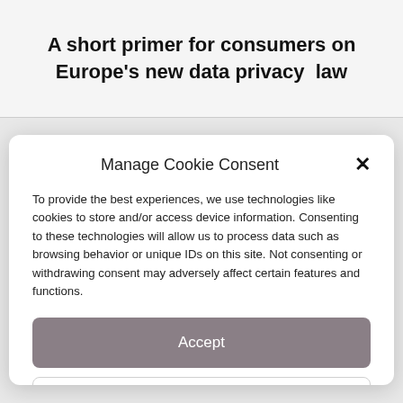A short primer for consumers on Europe's new data privacy law
Manage Cookie Consent
To provide the best experiences, we use technologies like cookies to store and/or access device information. Consenting to these technologies will allow us to process data such as browsing behavior or unique IDs on this site. Not consenting or withdrawing consent may adversely affect certain features and functions.
Accept
Deny
View preferences
GDPR/CCPA Compliance   Privacy & Disclosure